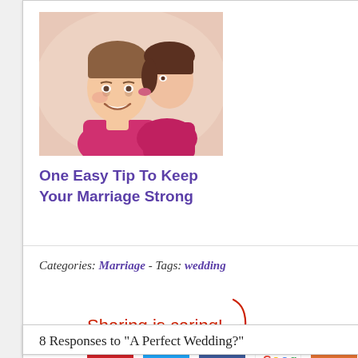[Figure (photo): A smiling couple — a young man and woman, the woman kissing/nuzzling the man's cheek. Both wearing pink/magenta. Outdoor photo.]
One Easy Tip To Keep Your Marriage Strong
Zemanta
Categories: Marriage - Tags: wedding
Sharing is caring!
[Figure (infographic): Social sharing icons: Pinterest (red), Twitter (blue bird), Facebook (blue f), Google+ (colorful), Tumblr/other (orange)]
8 Responses to "A Perfect Wedding?"